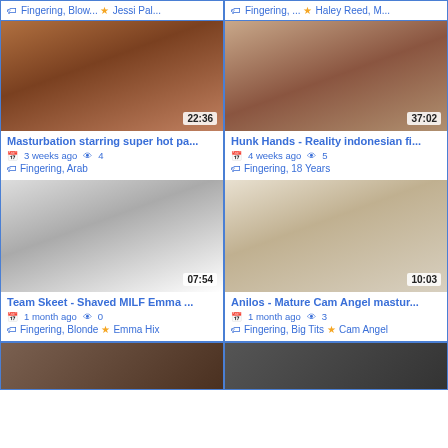Fingering, Blow... ★ Jessi Pal...
Fingering, ... ★ Haley Reed, M...
[Figure (photo): Video thumbnail 22:36 - Masturbation starring super hot pa...]
[Figure (photo): Video thumbnail 37:02 - Hunk Hands - Reality indonesian fi...]
Masturbation starring super hot pa...
3 weeks ago | views: 4
Fingering, Arab
Hunk Hands - Reality indonesian fi...
4 weeks ago | views: 5
Fingering, 18 Years
[Figure (photo): Video thumbnail 07:54 - Team Skeet - Shaved MILF Emma ...]
[Figure (photo): Video thumbnail 10:03 - Anilos - Mature Cam Angel mastur...]
Team Skeet - Shaved MILF Emma ...
1 month ago | views: 0
Fingering, Blonde ★ Emma Hix
Anilos - Mature Cam Angel mastur...
1 month ago | views: 3
Fingering, Big Tits ★ Cam Angel